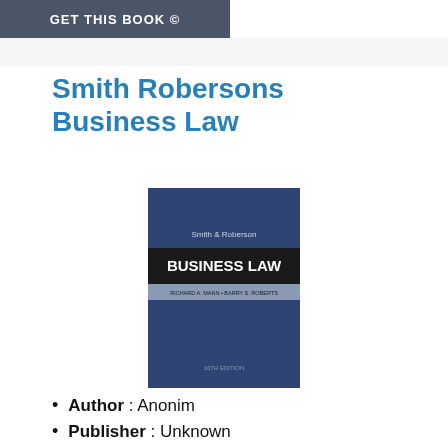[Figure (screenshot): Dark grey button/banner with white text 'GET THIS BOOK ©']
Smith Robersons Business Law
[Figure (photo): Book cover of Smith & Roberson's Business Law, navy blue cover with black band showing 'BUSINESS LAW' in white text and author names 'RICHARD A. MANN • BARRY S. ROBERTS']
Author : Anonim
Publisher : Unknown
Release : 28 August 2022